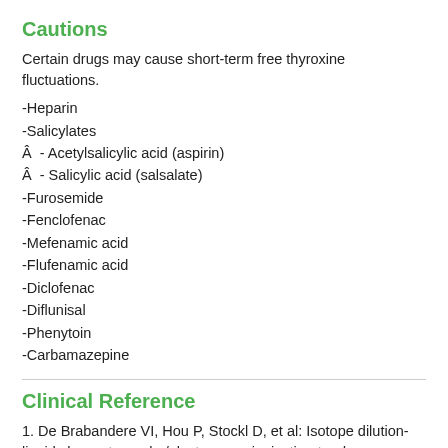Cautions
Certain drugs may cause short-term free thyroxine fluctuations.
-Heparin
-Salicylates
Â  - Acetylsalicylic acid (aspirin)
Â  - Salicylic acid (salsalate)
-Furosemide
-Fenclofenac
-Mefenamic acid
-Flufenamic acid
-Diclofenac
-Diflunisal
-Phenytoin
-Carbamazepine
Clinical Reference
1. De Brabandere VI, Hou P, Stockl D, et al: Isotope dilution-liquid chromatography/electrospray ionization-tandem mass spectrometry for the determination of serum thyroxine as a